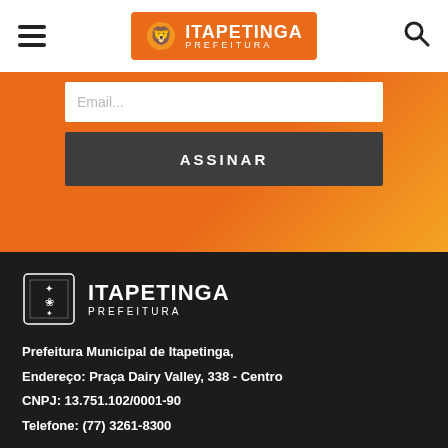Itapetinga Prefeitura
[Figure (screenshot): Orange section with email input field labeled 'Email...' and dark gray button labeled 'ASSINAR']
[Figure (logo): Itapetinga Prefeitura logo in white on dark background footer]
Prefeitura Municipal de Itapetinga,
Endereço: Praça Dairy Valley, 338 - Centro
CNPJ: 13.751.102/0001-90
Telefone: (77) 3261-8300
[Figure (other): Social media icons: Facebook, Instagram, YouTube in white circles on dark background]